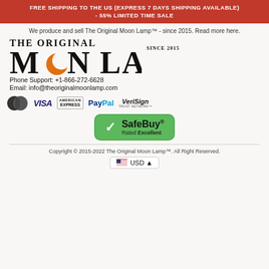FREE SHIPPING TO THE US (EXPRESS 7 DAYS SHIPPING AVAILABLE) - 55% LIMITED TIME SALE
We produce and sell The Original Moon Lamp™ since 2015. Read more here.
[Figure (logo): The Original Moon Lamp logo with orange crescent moon replacing the O, SINCE 2015 text]
Phone Support: +1-866-272-6628
Email: info@theoriginalmoonlamp.com
[Figure (illustration): Payment icons: MasterCard, VISA, American Express, PayPal, VeriSign Trust Network]
[Figure (illustration): SafeBuy Rated Excellent green badge with checkmark]
Copyright © 2015-2022 The Original Moon Lamp™. All Right Reserved.
USD